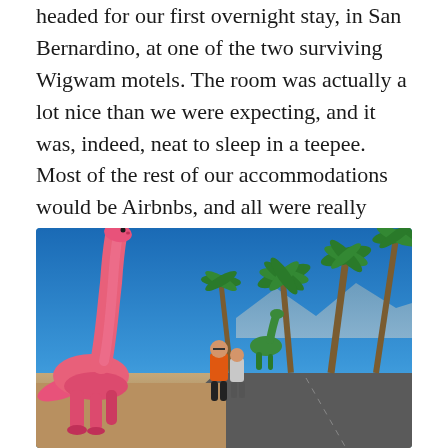headed for our first overnight stay, in San Bernardino, at one of the two surviving Wigwam motels. The room was actually a lot nice than we were expecting, and it was, indeed, neat to sleep in a teepee. Most of the rest of our accommodations would be Airbnbs, and all were really nice.
[Figure (photo): A large pink brachiosaurus dinosaur statue dominates the left foreground against a bright blue sky. Palm trees stand in the background. Two people stand near the base of the dinosaur statue. A smaller green dinosaur is visible in the mid-ground. A curved road and desert landscape surround the area.]